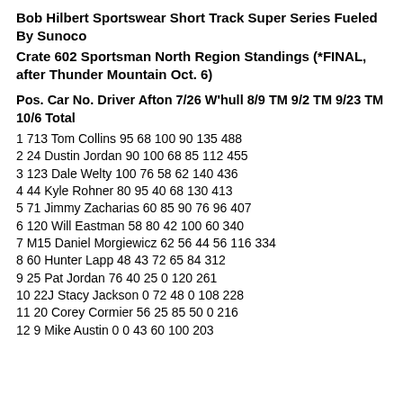Bob Hilbert Sportswear Short Track Super Series Fueled By Sunoco
Crate 602 Sportsman North Region Standings (*FINAL, after Thunder Mountain Oct. 6)
Pos. Car No. Driver Afton 7/26 W'hull 8/9 TM 9/2 TM 9/23 TM 10/6 Total
1 713 Tom Collins 95 68 100 90 135 488
2 24 Dustin Jordan 90 100 68 85 112 455
3 123 Dale Welty 100 76 58 62 140 436
4 44 Kyle Rohner 80 95 40 68 130 413
5 71 Jimmy Zacharias 60 85 90 76 96 407
6 120 Will Eastman 58 80 42 100 60 340
7 M15 Daniel Morgiewicz 62 56 44 56 116 334
8 60 Hunter Lapp 48 43 72 65 84 312
9 25 Pat Jordan 76 40 25 0 120 261
10 22J Stacy Jackson 0 72 48 0 108 228
11 20 Corey Cormier 56 25 85 50 0 216
12 9 Mike Austin 0 0 43 60 100 203